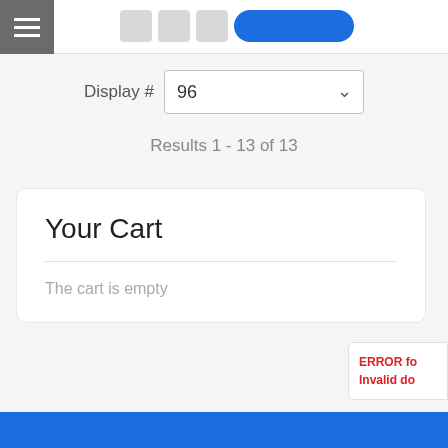[Figure (screenshot): Top navigation bar with hamburger menu icon (three white lines on gray background), gray buttons, and a blue rounded button]
Display #  96
Results 1 - 13 of 13
Your Cart
The cart is empty
ERROR fo
Invalid do